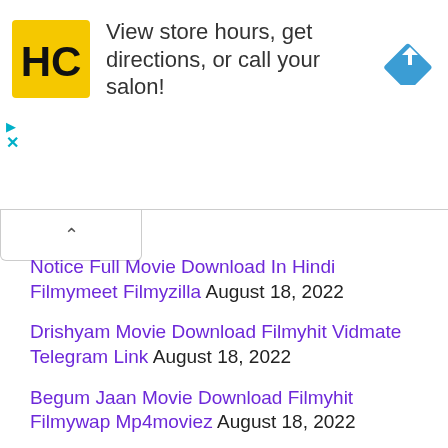[Figure (advertisement): Ad banner with HC logo (yellow background, black H and C letters), text 'View store hours, get directions, or call your salon!', and a blue diamond-shaped navigation arrow icon on the right. Play and close (X) controls on the left side.]
Notice Full Movie Download In Hindi Filmymeet Filmyzilla August 18, 2022
Drishyam Movie Download Filmyhit Vidmate Telegram Link August 18, 2022
Begum Jaan Movie Download Filmyhit Filmywap Mp4moviez August 18, 2022
Sardar Udham Singh Movie Download Filmyzilla Filmymeet August 18, 2022
Darlings Movie Download Telegram Link Filmyzilla Mp4moviez August 18, 2022
Movierulz 2022 Telugu Movie Download Ibomma